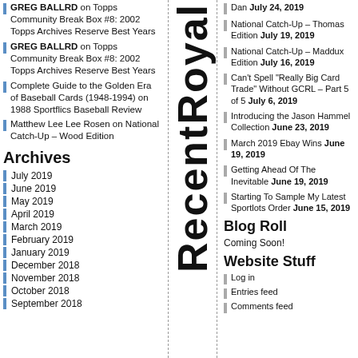GREG BALLRD on Topps Community Break Box #8: 2002 Topps Archives Reserve Best Years
GREG BALLRD on Topps Community Break Box #8: 2002 Topps Archives Reserve Best Years
Complete Guide to the Golden Era of Baseball Cards (1948-1994) on 1988 Sportflics Baseball Review
Matthew Lee Lee Rosen on National Catch-Up – Wood Edition
Archives
July 2019
June 2019
May 2019
April 2019
March 2019
February 2019
January 2019
December 2018
November 2018
October 2018
September 2018
[Figure (other): Vertical rotated text reading 'RecentRoyal']
Dan July 24, 2019
National Catch-Up – Thomas Edition July 19, 2019
National Catch-Up – Maddux Edition July 16, 2019
Can't Spell "Really Big Card Trade" Without GCRL – Part 5 of 5 July 6, 2019
Introducing the Jason Hammel Collection June 23, 2019
March 2019 Ebay Wins June 19, 2019
Getting Ahead Of The Inevitable June 19, 2019
Starting To Sample My Latest Sportlots Order June 15, 2019
Blog Roll
Coming Soon!
Website Stuff
Log in
Entries feed
Comments feed